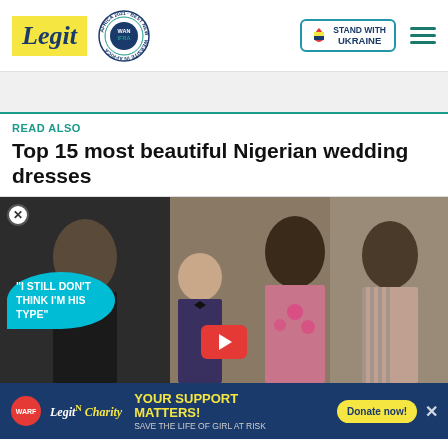Legit — WAN IFRA 2021 Best News Website in Africa — STAND WITH UKRAINE
READ ALSO
Top 15 most beautiful Nigerian wedding dresses
[Figure (screenshot): Video thumbnail showing people at an event with a speech bubble saying 'I STILL DON'T THINK I'M HIS TYPE' and a red play button]
[Figure (infographic): Legit Charity banner: YOUR SUPPORT MATTERS! SAVE THE LIFE OF GIRL AT RISK — Donate now! button]